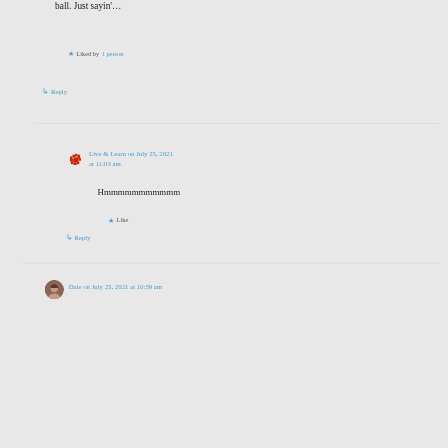ball. Just sayin'…
Liked by 1 person
↳ Reply
Live & Learn on July 25, 2021 at 11:03 am
[Figure (illustration): Pixelated red splat avatar icon for Live & Learn commenter]
Hmmmmmmmmmmm
★ Like
↳ Reply
[Figure (illustration): Round avatar photo of Dale commenter with dark hair]
Dale on July 25, 2021 at 10:59 am